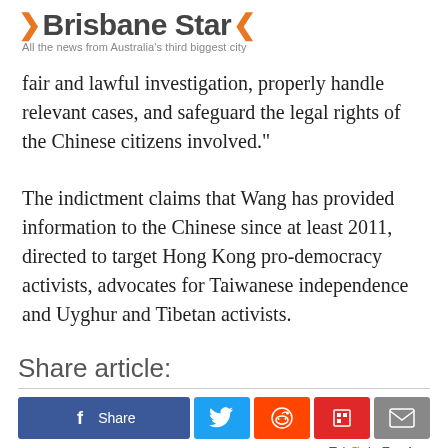Brisbane Star — All the news from Australia's third biggest city
fair and lawful investigation, properly handle relevant cases, and safeguard the legal rights of the Chinese citizens involved."
The indictment claims that Wang has provided information to the Chinese since at least 2011, directed to target Hong Kong pro-democracy activists, advocates for Taiwanese independence and Uyghur and Tibetan activists.
Share article:
[Figure (other): Social share buttons: Facebook Share, Twitter, Reddit, Flipboard, Email]
Taboola Feed